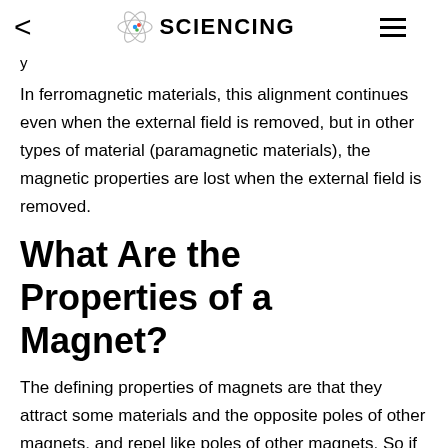< SCIENCING ≡
y
In ferromagnetic materials, this alignment continues even when the external field is removed, but in other types of material (paramagnetic materials), the magnetic properties are lost when the external field is removed.
What Are the Properties of a Magnet?
The defining properties of magnets are that they attract some materials and the opposite poles of other magnets, and repel like poles of other magnets. So if you have two permanent bar